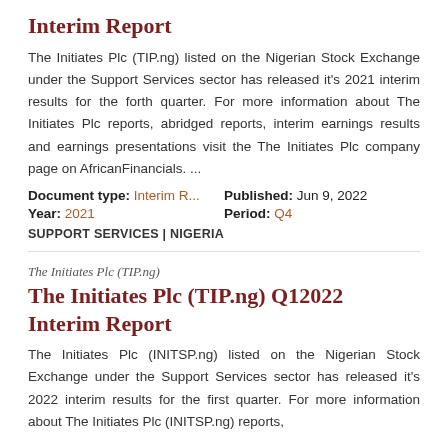Interim Report
The Initiates Plc (TIP.ng) listed on the Nigerian Stock Exchange under the Support Services sector has released it's 2021 interim results for the forth quarter. For more information about The Initiates Plc reports, abridged reports, interim earnings results and earnings presentations visit the The Initiates Plc company page on AfricanFinancials. ...
Document type: Interim R...   Published: Jun 9, 2022
Year: 2021   Period: Q4
SUPPORT SERVICES | NIGERIA
The Initiates Plc (TIP.ng)
The Initiates Plc (TIP.ng) Q12022 Interim Report
The Initiates Plc (INITSP.ng) listed on the Nigerian Stock Exchange under the Support Services sector has released it's 2022 interim results for the first quarter. For more information about The Initiates Plc (INITSP.ng) reports,